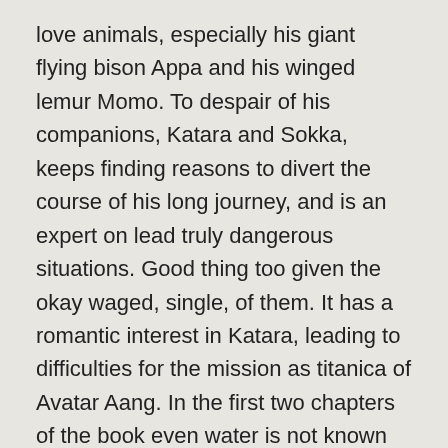love animals, especially his giant flying bison Appa and his winged lemur Momo. To despair of his companions, Katara and Sokka, keeps finding reasons to divert the course of his long journey, and is an expert on lead truly dangerous situations. Good thing too given the okay waged, single, of them. It has a romantic interest in Katara, leading to difficulties for the mission as titanica of Avatar Aang. In the first two chapters of the book even water is not known who is the Avatar (at least not explicitly so) for both the presentation of the program is not Aang on top of the mountain just before you see the name of the series . Of course not Aang appears to control air and riding his skateboard air. (Aang is not really bald, but their vows of a monk, you have to shave his head). In certain situations, and shows affection for Katara is a relationship that develops gradually, finally in the last